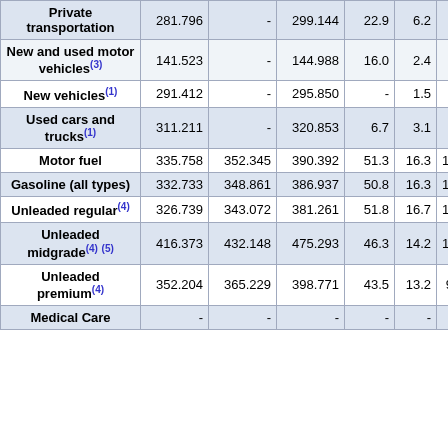| Item | Col1 | Col2 | Col3 | Col4 | Col5 | Col6 |
| --- | --- | --- | --- | --- | --- | --- |
| Private transportation | 281.796 | - | 299.144 | 22.9 | 6.2 |  |
| New and used motor vehicles(3) | 141.523 | - | 144.988 | 16.0 | 2.4 |  |
| New vehicles(1) | 291.412 | - | 295.850 | - | 1.5 |  |
| Used cars and trucks(1) | 311.211 | - | 320.853 | 6.7 | 3.1 |  |
| Motor fuel | 335.758 | 352.345 | 390.392 | 51.3 | 16.3 | 10 |
| Gasoline (all types) | 332.733 | 348.861 | 386.937 | 50.8 | 16.3 | 10 |
| Unleaded regular(4) | 326.739 | 343.072 | 381.261 | 51.8 | 16.7 | 11 |
| Unleaded midgrade(4)(5) | 416.373 | 432.148 | 475.293 | 46.3 | 14.2 | 10 |
| Unleaded premium(4) | 352.204 | 365.229 | 398.771 | 43.5 | 13.2 | 9 |
| Medical Care | - | - | - | - | - |  |